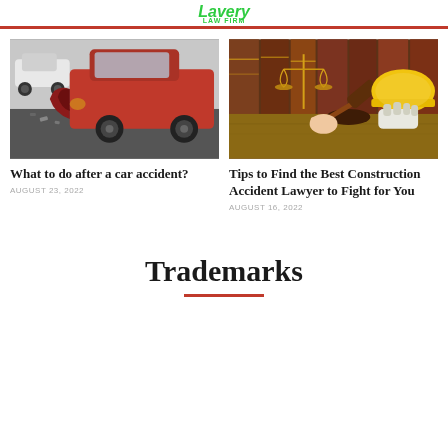Lavery Law Firm
[Figure (photo): Red car with damaged front end after a collision, on a road]
What to do after a car accident?
AUGUST 23, 2022
[Figure (photo): Judge gavel, scales of justice, law books, yellow construction hard hat and gloves on a wooden surface]
Tips to Find the Best Construction Accident Lawyer to Fight for You
AUGUST 16, 2022
Trademarks